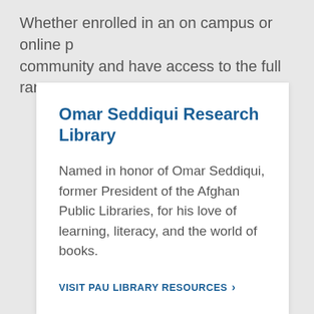Whether enrolled in an on campus or online p... community and have access to the full range o...
Omar Seddiqui Research Library
Named in honor of Omar Seddiqui, former President of the Afghan Public Libraries, for his love of learning, literacy, and the world of books.
VISIT PAU LIBRARY RESOURCES ›